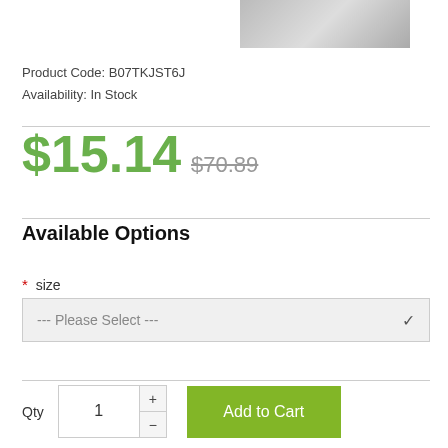[Figure (photo): Partial product image showing a person wearing white clothing]
Product Code: B07TKJST6J
Availability: In Stock
$15.14  $70.89
Available Options
* size
--- Please Select ---
Qty  1  Add to Cart